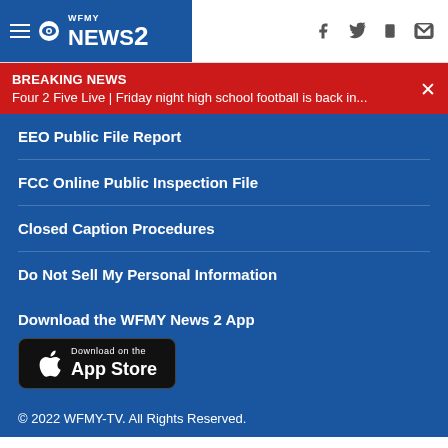WFMY NEWS 2
BREAKING NEWS
Four 2 Five Live | Friday night high school football is back in...
EEO Public File Report
FCC Online Public Inspection File
Closed Caption Procedures
Do Not Sell My Personal Information
Download the WFMY News 2 App
[Figure (logo): Download on the App Store badge]
© 2022 WFMY-TV. All Rights Reserved.